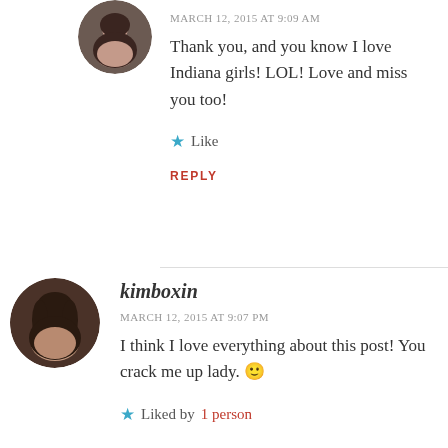[Figure (photo): Circular avatar photo of a woman with dark hair, top comment]
MARCH 12, 2015 AT 9:09 AM
Thank you, and you know I love Indiana girls! LOL! Love and miss you too!
Like
REPLY
[Figure (photo): Circular avatar photo of kimboxin, a woman with long dark hair]
kimboxin
MARCH 12, 2015 AT 9:07 PM
I think I love everything about this post! You crack me up lady. 🙂
Liked by 1 person